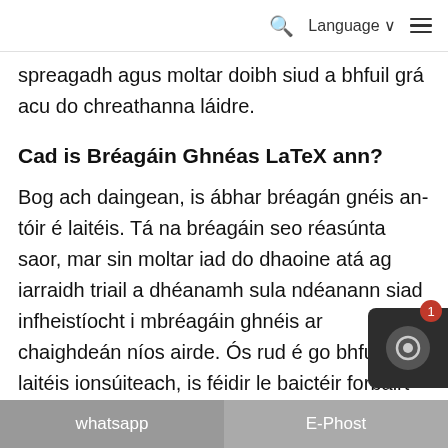🔍 Language ▾ ≡
spreagadh agus moltar doibh siud a bhfuil grá acu do chreathanna láidre.
Cad is Bréagáin Ghnéas LaTeX ann?
Bog ach daingean, is ábhar bréagán gnéis an-tóir é laitéis. Tá na bréagáin seo réasúnta saor, mar sin moltar iad do dhaoine atá ag iarraidh triail a dhéanamh sula ndéanann siad infheistíocht i mbréagáin ghnéis ar chaighdeán níos airde. Ós rud é go bhfuil laitéis ionsúiteach, is féidir le baictéir forbairt go héasca ar dhromchla an bhréagáin. Úsáid coiscín (más féidir) agus tú ag imirt le do bhréagán ag déan é a ghlanadh go cúramach tar éis gach úsáide.
whatsapp   E-Phost